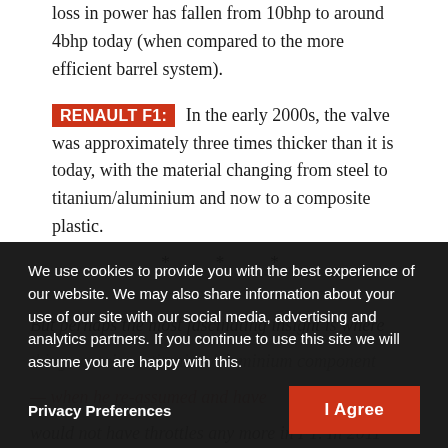loss in power has fallen from 10bhp to around 4bhp today (when compared to the more efficient barrel system).
RENAULT F1: In the early 2000s, the valve was approximately three times thicker than it is today, with the material changing from steel to titanium/aluminium and now to a composite plastic.
* * *
But perhaps the most fascinating insight is where...
We use cookies to provide you with the best experience of our website. We may also share information about your use of our site with our social media, advertising and analytics partners. If you continue to use this site we will assume you are happy with this.
Privacy Preferences
I Agree